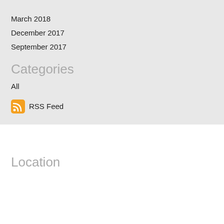March 2018
December 2017
September 2017
Categories
All
[Figure (other): RSS Feed icon with orange background and white signal wave symbol, followed by text 'RSS Feed']
Location